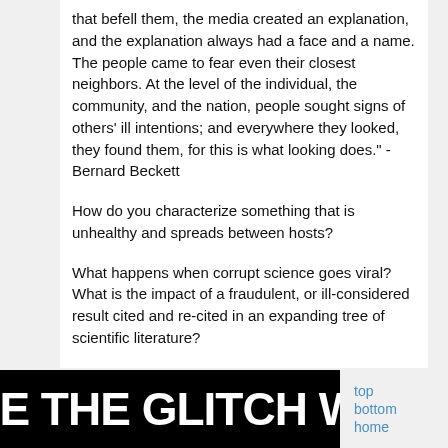that befell them, the media created an explanation, and the explanation always had a face and a name. The people came to fear even their closest neighbors. At the level of the individual, the community, and the nation, people sought signs of others' ill intentions; and everywhere they looked, they found them, for this is what looking does." -Bernard Beckett
How do you characterize something that is unhealthy and spreads between hosts?
What happens when corrupt science goes viral? What is the impact of a fraudulent, or ill-considered result cited and re-cited in an expanding tree of scientific literature?
We're talking about Viral Absurdities—just not the cute or funny type. Can we rebuild our collective immune system?
[Figure (other): Black banner with large white bold text reading 'BE THE GLITCH WI' (partially visible), with navigation links 'top', 'bottom', 'home' in blue on the right]